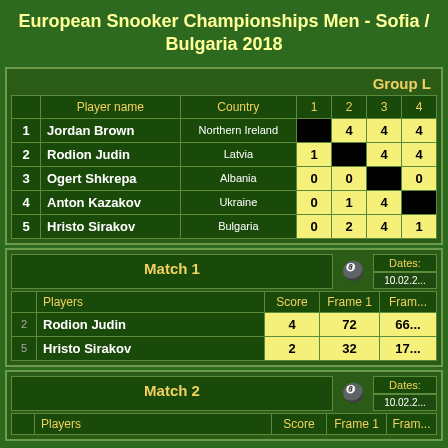European Snooker Championships Men - Sofia / Bulgaria 2018
|  | Player name | Country | 1 | 2 | 3 | 4 |
| --- | --- | --- | --- | --- | --- | --- |
| 1 | Jordan Brown | Northern Ireland | ■ | 4 | 4 | 4 |
| 2 | Rodion Judin | Latvia | 1 | ■ | 4 | 4 |
| 3 | Ogert Shkrepa | Albania | 0 | 0 | ■ | 0 |
| 4 | Anton Kazakov | Ukraine | 0 | 1 | 4 | ■ |
| 5 | Hristo Sirakov | Bulgaria | 0 | 2 | 4 | 1 |
| Match 1 |  | Dates: | 10.02.2... |
| --- | --- | --- | --- |
| Players |  | Score | Frame 1 | Frame... |
| 2 | Rodion Judin | 4 | 72 | 66... |
| 5 | Hristo Sirakov | 2 | 32 | 17... |
| Match 2 |  | Dates: | 10.02.2... |
| --- | --- | --- | --- |
| Players |  | Score | Frame 1 | Frame... |